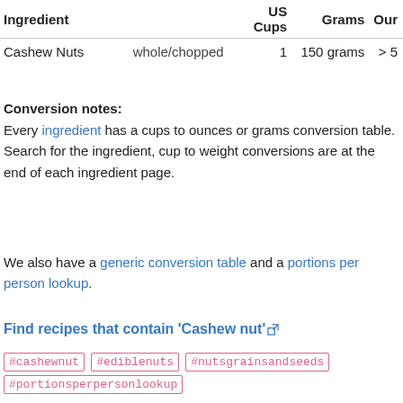| Ingredient |  | US Cups | Grams | Our |
| --- | --- | --- | --- | --- |
| Cashew Nuts | whole/chopped | 1 | 150 grams | > 5 |
Conversion notes:
Every ingredient has a cups to ounces or grams conversion table. Search for the ingredient, cup to weight conversions are at the end of each ingredient page.
We also have a generic conversion table and a portions per person lookup.
Find recipes that contain 'Cashew nut'
#cashewnut #ediblenuts #nutsgrainsandseeds
#portionsperpersonlookup